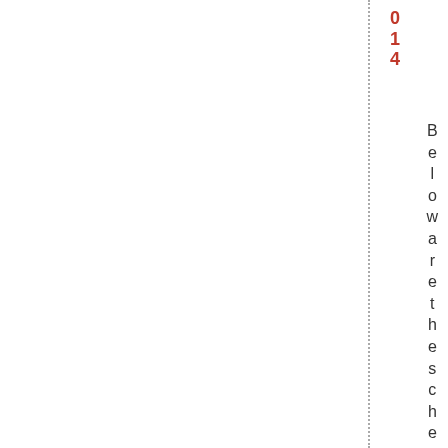014
Below are the scheduled rampan